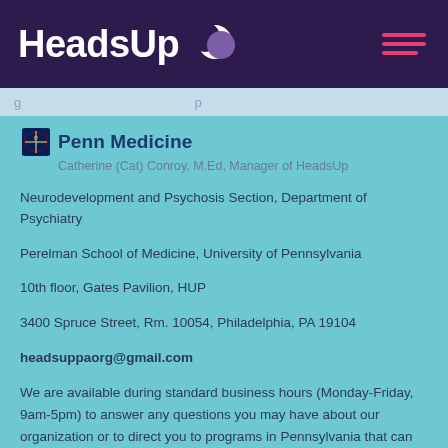HeadsUp
Catherine (Cat) Conroy, M.Ed, Manager of HeadsUp
Neurodevelopment and Psychosis Section, Department of Psychiatry
Perelman School of Medicine, University of Pennsylvania
10th floor, Gates Pavilion, HUP
3400 Spruce Street, Rm. 10054, Philadelphia, PA 19104
headsuppaorg@gmail.com
We are available during standard business hours (Monday-Friday, 9am-5pm) to answer any questions you may have about our organization or to direct you to programs in Pennsylvania that can offer clinical help.
[Figure (illustration): Social media icons: Twitter (bird), Instagram (camera), YouTube (play button)]